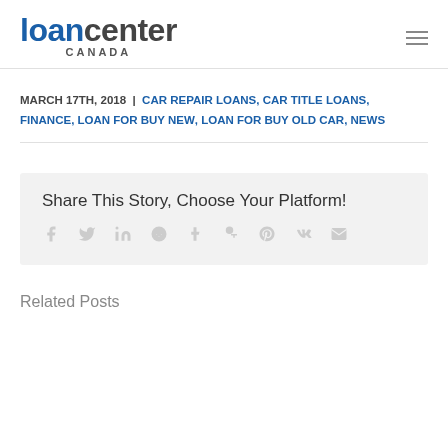loancenter CANADA
MARCH 17TH, 2018 | CAR REPAIR LOANS, CAR TITLE LOANS, FINANCE, LOAN FOR BUY NEW, LOAN FOR BUY OLD CAR, NEWS
Share This Story, Choose Your Platform!
Related Posts